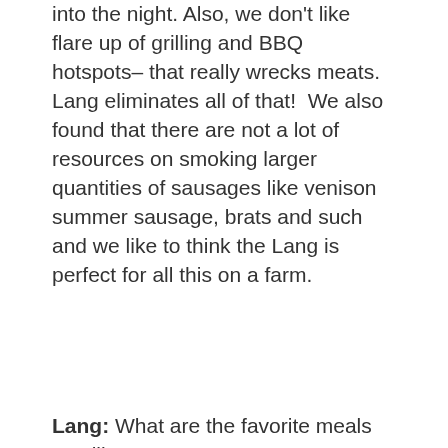into the night. Also, we don't like flare up of grilling and BBQ hotspots– that really wrecks meats. Lang eliminates all of that!  We also found that there are not a lot of resources on smoking larger quantities of sausages like venison summer sausage, brats and such and we like to think the Lang is perfect for all this on a farm.
Lang: What are the favorite meals you like to prepare?
Dr: I love my Summer Sausage all year, but when you say meals, I say I still like a nice leg of goat